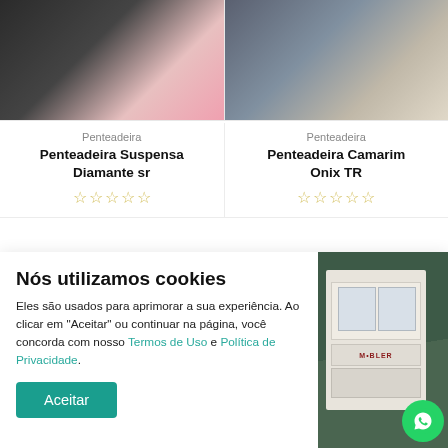[Figure (photo): Product photo of Penteadeira Suspensa Diamante sr - dark vanity with pink chair and mirror]
[Figure (photo): Product photo of Penteadeira Camarim Onix TR - wall-mounted vanity with stool against brick wall]
Penteadeira
Penteadeira
Penteadeira Suspensa Diamante sr
Penteadeira Camarim Onix TR
[Figure (other): 5-star rating widget (empty stars) for Penteadeira Suspensa Diamante sr]
[Figure (other): 5-star rating widget (empty stars) for Penteadeira Camarim Onix TR]
Nós utilizamos cookies
Eles são usados para aprimorar a sua experiência. Ao clicar em "Aceitar" ou continuar na página, você concorda com nosso Termos de Uso e Política de Privacidade.
[Figure (photo): Furniture product photo on right side of cookie banner - white and dark green wardrobe/dresser with MOBLER branding]
[Figure (logo): WhatsApp floating button icon]